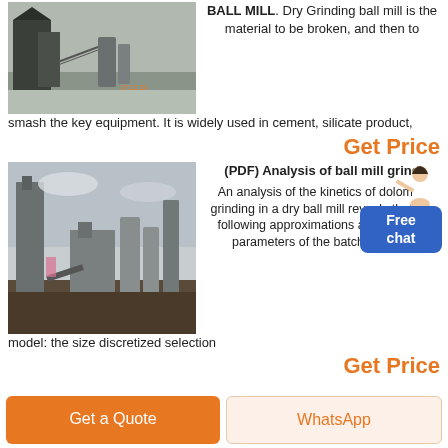[Figure (photo): Aerial/ground photo of industrial ball mill equipment facility with dark structures and snow on the ground, with orange timestamp text.]
BALL MILL. Dry Grinding ball mill is the material to be broken, and then to smash the key equipment. It is widely used in cement, silicate product,
Get Price
[Figure (photo): Industrial plant/factory complex with tall structures, silos, conveyors and equipment under overcast sky.]
(PDF) Analysis of ball mill grinding
An analysis of the kinetics of dolomite grinding in a dry ball mill reveals that the following approximations apply for the parameters of the batch grinding model: the size discretized selection
Get Price
Get a Quote
WhatsApp